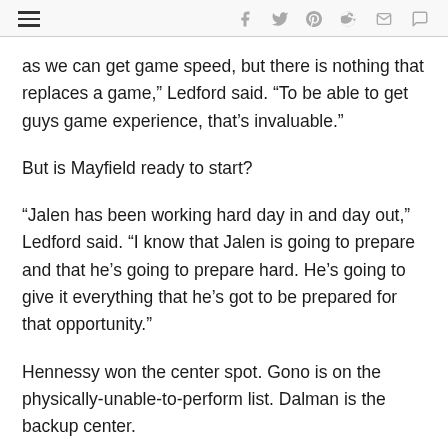Navigation and social share icons
as we can get game speed, but there is nothing that replaces a game,” Ledford said. “To be able to get guys game experience, that’s invaluable.”
But is Mayfield ready to start?
“Jalen has been working hard day in and day out,” Ledford said. “I know that Jalen is going to prepare and that he’s going to prepare hard. He’s going to give it everything that he’s got to be prepared for that opportunity.”
Hennessy won the center spot. Gono is on the physically-unable-to-perform list. Dalman is the backup center.